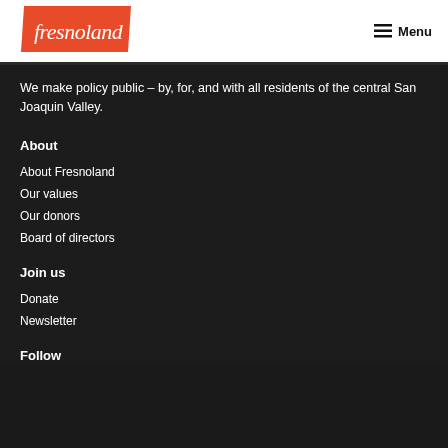[Figure (logo): Fresnoland logo — white italic text on orange/red parallelogram shape]
Menu
We make policy public – by, for, and with all residents of the central San Joaquin Valley.
About
About Fresnoland
Our values
Our donors
Board of directors
Join us
Donate
Newsletter
Follow